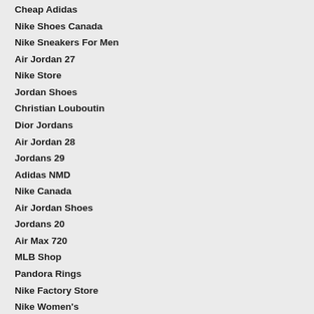Cheap Adidas
Nike Shoes Canada
Nike Sneakers For Men
Air Jordan 27
Nike Store
Jordan Shoes
Christian Louboutin
Dior Jordans
Air Jordan 28
Jordans 29
Adidas NMD
Nike Canada
Air Jordan Shoes
Jordans 20
Air Max 720
MLB Shop
Pandora Rings
Nike Factory Store
Nike Women's
Nike Shoes
Off White x Nike
Nike 270
Nike Outlet